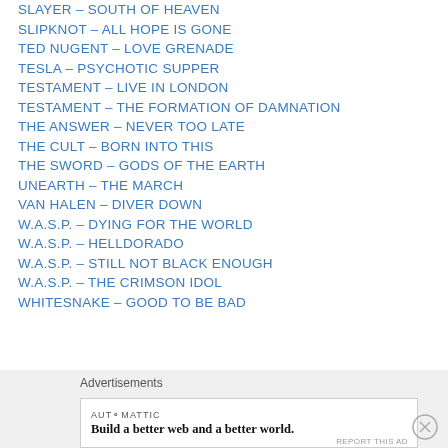SLAYER – SOUTH OF HEAVEN
SLIPKNOT – ALL HOPE IS GONE
TED NUGENT – LOVE GRENADE
TESLA – PSYCHOTIC SUPPER
TESTAMENT – LIVE IN LONDON
TESTAMENT – THE FORMATION OF DAMNATION
THE ANSWER – NEVER TOO LATE
THE CULT – BORN INTO THIS
THE SWORD – GODS OF THE EARTH
UNEARTH – THE MARCH
VAN HALEN – DIVER DOWN
W.A.S.P. – DYING FOR THE WORLD
W.A.S.P. – HELLDORADO
W.A.S.P. – STILL NOT BLACK ENOUGH
W.A.S.P. – THE CRIMSON IDOL
WHITESNAKE – GOOD TO BE BAD
Advertisements
AUTOMATTIC
Build a better web and a better world.